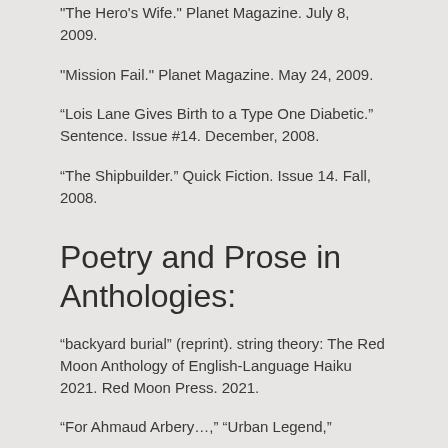"The Hero's Wife." Planet Magazine. July 8, 2009.
"Mission Fail." Planet Magazine. May 24, 2009.
“Lois Lane Gives Birth to a Type One Diabetic.” Sentence. Issue #14. December, 2008.
“The Shipbuilder.” Quick Fiction. Issue 14. Fall, 2008.
Poetry and Prose in Anthologies:
“backyard burial” (reprint). string theory: The Red Moon Anthology of English-Language Haiku 2021. Red Moon Press. 2021.
“For Ahmaud Arbery…,” “Urban Legend,”